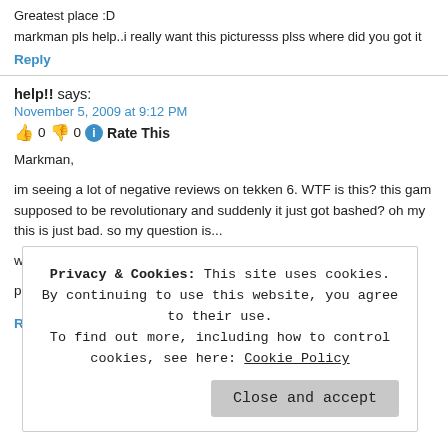Greatest place :D
markman pls help..i really want this picturesss plss where did you got it
Reply
help!! says: November 5, 2009 at 9:12 PM 👍 0 👎 0 ℹ Rate This
Markman,
im seeing a lot of negative reviews on tekken 6. WTF is this? this game was supposed to be revolutionary and suddenly it just got bashed? oh my this is just bad. so my question is...
why the hate on tekken 6?!
please reply markman!
Reply
Privacy & Cookies: This site uses cookies. By continuing to use this website, you agree to their use. To find out more, including how to control cookies, see here: Cookie Policy
Close and accept